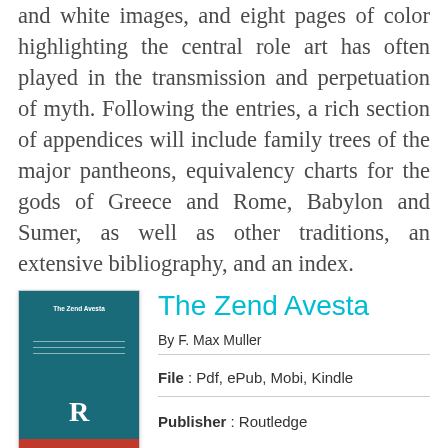and white images, and eight pages of color highlighting the central role art has often played in the transmission and perpetuation of myth. Following the entries, a rich section of appendices will include family trees of the major pantheons, equivalency charts for the gods of Greece and Rome, Babylon and Sumer, as well as other traditions, an extensive bibliography, and an index.
The Zend Avesta
By F. Max Muller
[Figure (illustration): Book cover of The Zend Avesta with teal/dark green background, white title text, and red bottom bar with Routledge R logo]
[Figure (illustration): Green READ PDF button]
File : Pdf, ePub, Mobi, Kindle
Publisher : Routledge